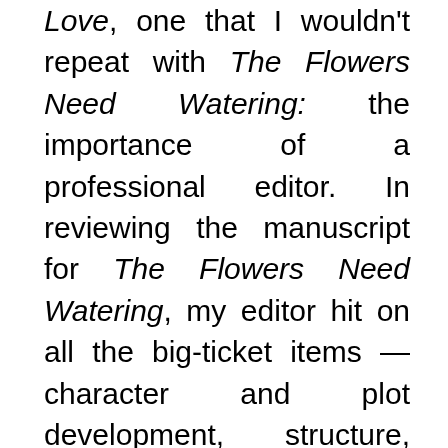Love, one that I wouldn't repeat with The Flowers Need Watering: the importance of a professional editor. In reviewing the manuscript for The Flowers Need Watering, my editor hit on all the big-ticket items — character and plot development, structure, continuity, story arc, theme development, repetition and plot holes. He didn't only point out what wasn't working, but also what worked well. Through that process I realized something else. Maybe Freestyle Love, despite what I thought at the time, wasn't my best effort. Now I knew I could do